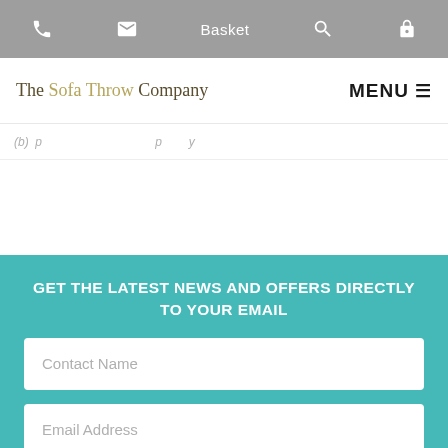Phone | Email | Basket | Search | Account
The Sofa Throw Company
MENU
(partial breadcrumb/navigation text visible)
GET THE LATEST NEWS AND OFFERS DIRECTLY TO YOUR EMAIL
Contact Name
Email Address
Sign Up